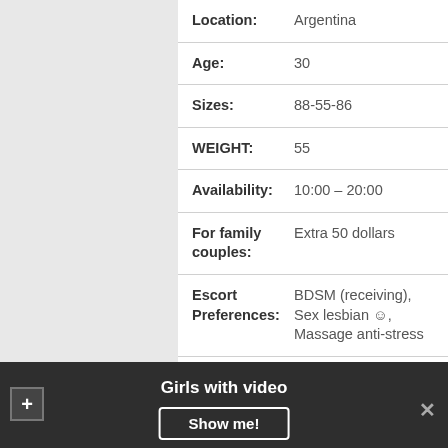| Field | Value |
| --- | --- |
| Location: | Argentina |
| Age: | 30 |
| Sizes: | 88-55-86 |
| WEIGHT: | 55 |
| Availability: | 10:00 – 20:00 |
| For family couples: | Extra 50 dollars |
| Escort Preferences: | BDSM (receiving), Sex lesbian ☺, Massage anti-stress |
| Outcall: | +50$ |
| 1hr: | 80Doll |
| Gangbang: | 460$ |
Girls with video
Show me!